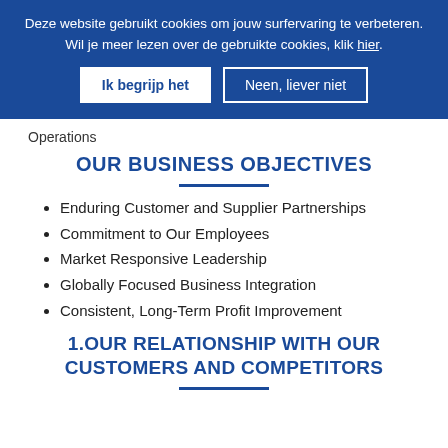Deze website gebruikt cookies om jouw surfervaring te verbeteren. Wil je meer lezen over de gebruikte cookies, klik hier.
Ik begrijp het | Neen, liever niet
Operations
OUR BUSINESS OBJECTIVES
Enduring Customer and Supplier Partnerships
Commitment to Our Employees
Market Responsive Leadership
Globally Focused Business Integration
Consistent, Long-Term Profit Improvement
1.OUR RELATIONSHIP WITH OUR CUSTOMERS AND COMPETITORS